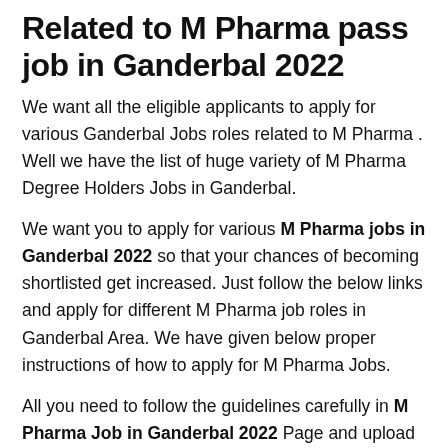Related to M Pharma pass job in Ganderbal 2022
We want all the eligible applicants to apply for various Ganderbal Jobs roles related to M Pharma . Well we have the list of huge variety of M Pharma Degree Holders Jobs in Ganderbal.
We want you to apply for various M Pharma jobs in Ganderbal 2022 so that your chances of becoming shortlisted get increased. Just follow the below links and apply for different M Pharma job roles in Ganderbal Area. We have given below proper instructions of how to apply for M Pharma Jobs.
All you need to follow the guidelines carefully in M Pharma Job in Ganderbal 2022 Page and upload